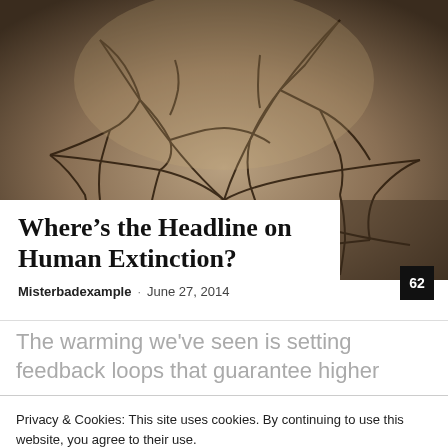[Figure (photo): Aerial view of severely cracked dry earth/soil showing drought conditions with deep fissures forming polygonal patterns]
Where’s the Headline on Human Extinction?
Misterbadexample · June 27, 2014
The warming we’ve seen is setting feedback loops that guarantee higher
Privacy & Cookies: This site uses cookies. By continuing to use this website, you agree to their use.
To find out more, including how to control cookies, see here: Cookie Policy
Close and accept
atmosphere.